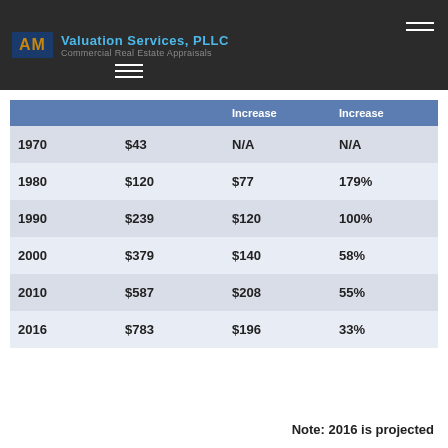AM Valuation Services, PLLC — Commercial Real Estate Appraisals
|  |  | Increase | Increase |
| --- | --- | --- | --- |
| 1970 | $43 | N/A | N/A |
| 1980 | $120 | $77 | 179% |
| 1990 | $239 | $120 | 100% |
| 2000 | $379 | $140 | 58% |
| 2010 | $587 | $208 | 55% |
| 2016 | $783 | $196 | 33% |
Note: 2016 is projected